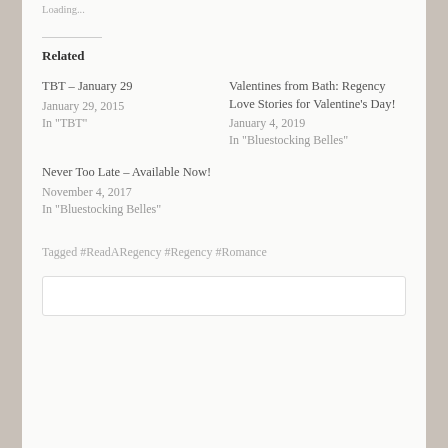Loading...
Related
TBT – January 29
January 29, 2015
In "TBT"
Valentines from Bath: Regency Love Stories for Valentine's Day!
January 4, 2019
In "Bluestocking Belles"
Never Too Late – Available Now!
November 4, 2017
In "Bluestocking Belles"
Tagged #ReadARegency #Regency #Romance